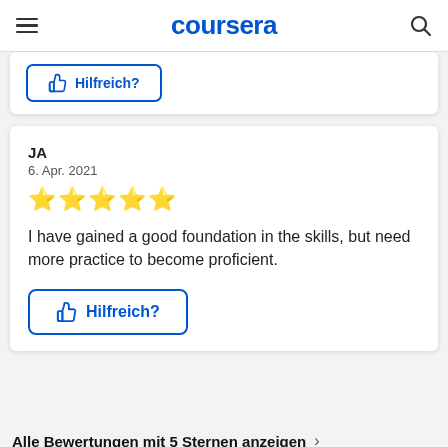coursera
[Figure (screenshot): Partial review card with Hilfreich? thumbs up button at top]
JA
6. Apr. 2021
[Figure (other): 5 yellow stars rating]
I have gained a good foundation in the skills, but need more practice to become proficient.
Hilfreich?
Alle Bewertungen mit 5 Sternen anzeigen